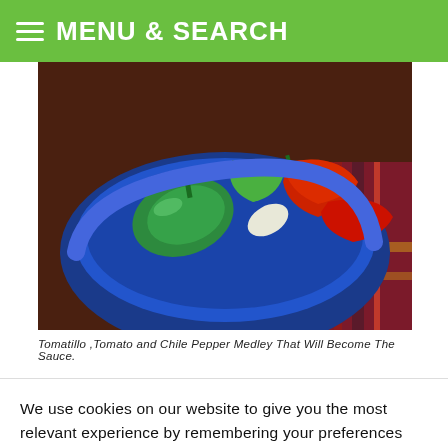MENU & SEARCH
[Figure (photo): A blue bowl containing tomatillos, tomatoes, and chile peppers of various colors (green, red, white) on a colorful striped textile background]
Tomatillo ,Tomato and Chile Pepper Medley That Will Become The Sauce.
We use cookies on our website to give you the most relevant experience by remembering your preferences and repeat visits. By clicking “Accept”, you consent to the use of ALL the cookies.
Do not sell my personal information
Cookie Settings
Accept